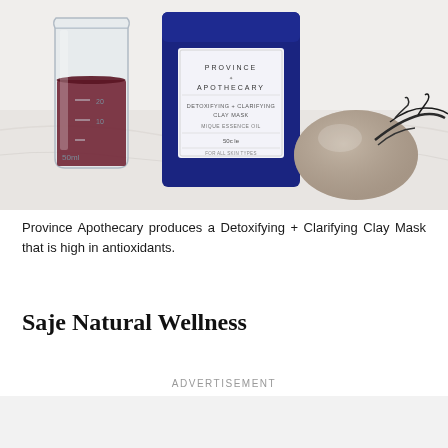[Figure (photo): Photo of Province Apothecary products: a glass beaker with dark red liquid marked 50ml, a blue jar with a label reading 'Province Apothecary Detoxifying + Clarifying Clay Mask', and a smooth stone with dried botanical material, all on a white marble surface.]
Province Apothecary produces a Detoxifying + Clarifying Clay Mask that is high in antioxidants.
Saje Natural Wellness
ADVERTISEMENT